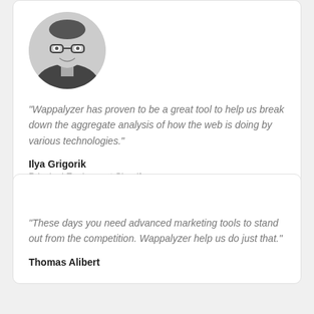[Figure (photo): Circular black and white headshot photo of Ilya Grigorik, a man with glasses and short hair, smiling.]
“Wappalyzer has proven to be a great tool to help us break down the aggregate analysis of how the web is doing by various technologies.”
Ilya Grigorik
Principal Engineer at Shopify
“These days you need advanced marketing tools to stand out from the competition. Wappalyzer help us do just that.”
Thomas Alibert